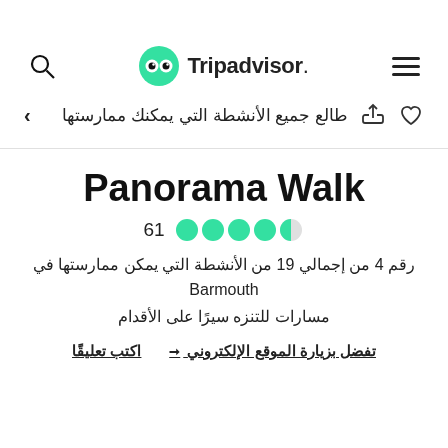[Figure (logo): Tripadvisor logo with green owl icon and text 'Tripadvisor.']
طالع جميع الأنشطة التي يمكنك ممارستها
Panorama Walk
61 (rating: 4.5 out of 5 green bubbles)
رقم 4 من إجمالي 19 من الأنشطة التي يمكن ممارستها في Barmouth
مسارات للتنزه سيرًا على الأقدام
اكتب تعليقًا   تفضل بزيارة الموقع الإلكتروني